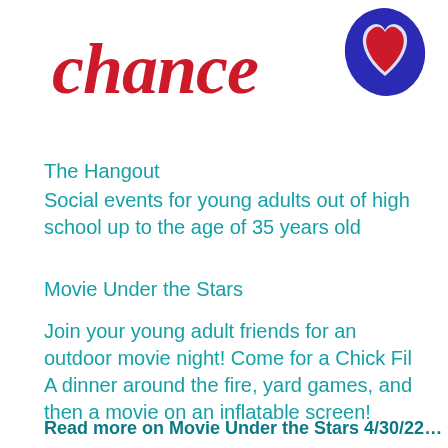[Figure (logo): Partial logo showing the word 'chance' in bold red italic serif font with a blue heart-shaped blob with a red heart icon in the upper right corner]
The Hangout
Social events for young adults out of high school up to the age of 35 years old
Movie Under the Stars
Join your young adult friends for an outdoor movie night! Come for a Chick Fil A dinner around the fire, yard games, and then a movie on an inflatable screen!
Read more on Movie Under the Stars 4/30/22…